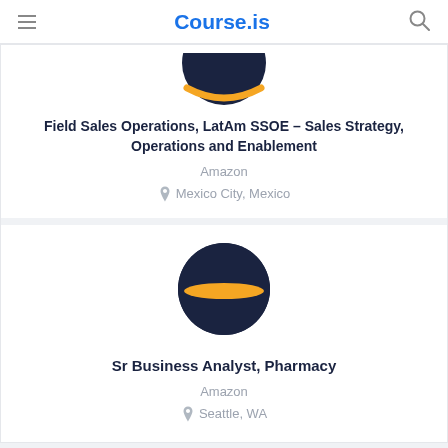Course.is
[Figure (logo): Amazon logo - dark navy circle partially shown at top with orange curved stripe at bottom]
Field Sales Operations, LatAm SSOE – Sales Strategy, Operations and Enablement
Amazon
Mexico City, Mexico
[Figure (logo): Amazon logo - dark navy circle with orange horizontal stripe through middle]
Sr Business Analyst, Pharmacy
Amazon
Seattle, WA